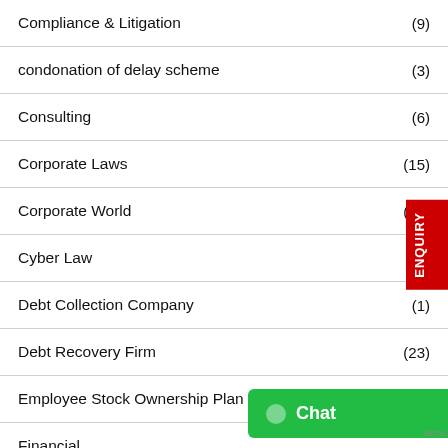Compliance & Litigation (9)
condonation of delay scheme (3)
Consulting (6)
Corporate Laws (15)
Corporate World (20)
Cyber Law (4)
Debt Collection Company (1)
Debt Recovery Firm (23)
Employee Stock Ownership Plan (29)
Financial